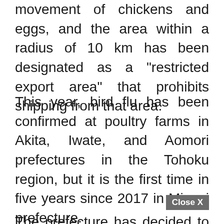movement of chickens and eggs, and the area within a radius of 10 km has been designated as a "restricted export area" that prohibits shipping from that area.
This year, bird flu has been confirmed at poultry farms in Akita, Iwate, and Aomori prefectures in the Tohoku region, but it is the first time in five years since 2017 in Miyagi prefecture.
Close X
The prefecture has decided to complete the disinfection of poultry farms by next week, and